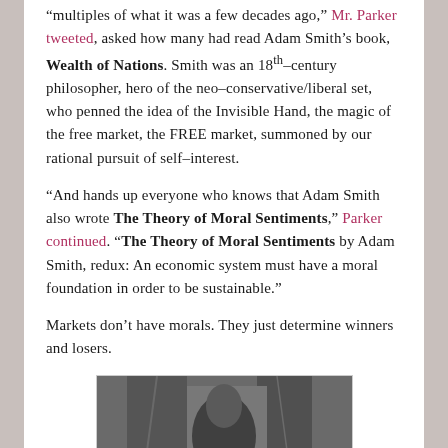“multiples of what it was a few decades ago,” Mr. Parker tweeted, asked how many had read Adam Smith’s book, Wealth of Nations. Smith was an 18th-century philosopher, hero of the neo-conservative/liberal set, who penned the idea of the Invisible Hand, the magic of the free market, the FREE market, summoned by our rational pursuit of self-interest.
“And hands up everyone who knows that Adam Smith also wrote The Theory of Moral Sentiments,” Parker continued. “The Theory of Moral Sentiments by Adam Smith, redux: An economic system must have a moral foundation in order to be sustainable.”
Markets don’t have morals. They just determine winners and losers.
[Figure (photo): Black and white photograph of a person, appears to be a classical portrait or painting in grayscale]